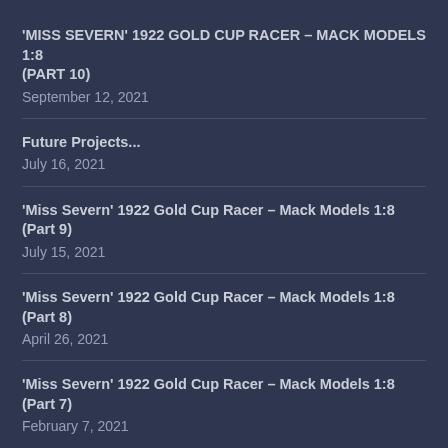'MISS SEVERN' 1922 GOLD CUP RACER – MACK MODELS 1:8 (PART 10)
September 12, 2021
Future Projects...
July 16, 2021
'Miss Severn' 1922 Gold Cup Racer – Mack Models 1:8 (Part 9)
July 15, 2021
'Miss Severn' 1922 Gold Cup Racer – Mack Models 1:8 (Part 8)
April 26, 2021
'Miss Severn' 1922 Gold Cup Racer – Mack Models 1:8 (Part 7)
February 7, 2021
Hispano-Suiza 8F (Part 11)
December 24, 2020
Hispano-Suiza 8F (Part 10)
December 6, 2020
Hispano-Suiza 8F (Part 9)
October 30, 2020